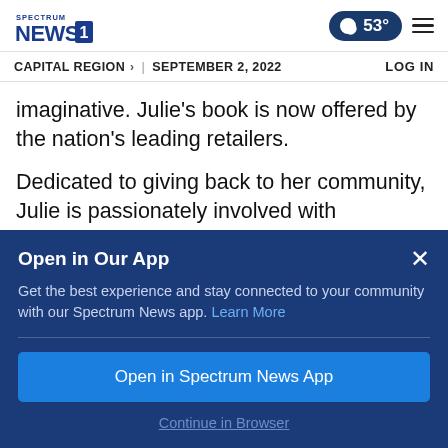Spectrum NEWS1 | CAPITAL REGION | SEPTEMBER 2, 2022 | LOG IN | 53°
imaginative. Julie's book is now offered by the nation's leading retailers.
Dedicated to giving back to her community, Julie is passionately involved with mentoring and youth empowerment programs. She works
Open in Our App
Get the best experience and stay connected to your community with our Spectrum News app. Learn More
Open in Spectrum News App
Continue in Browser